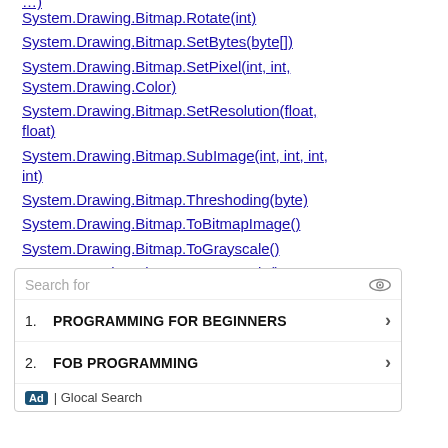System.Drawing.Bitmap.Rotate(int)
System.Drawing.Bitmap.SetBytes(byte[])
System.Drawing.Bitmap.SetPixel(int, int, System.Drawing.Color)
System.Drawing.Bitmap.SetResolution(float, float)
System.Drawing.Bitmap.SubImage(int, int, int, int)
System.Drawing.Bitmap.Threshoding(byte)
System.Drawing.Bitmap.ToBitmapImage()
System.Drawing.Bitmap.ToGrayscale()
System.Drawing.Bitmap.ToRectangle()
System.Drawing.Bitmap.UnlockBits(System.Draw
[Figure (other): Advertisement box with search bar, two search suggestions (PROGRAMMING FOR BEGINNERS, FOB PROGRAMMING), and Glocal Search Ad footer.]